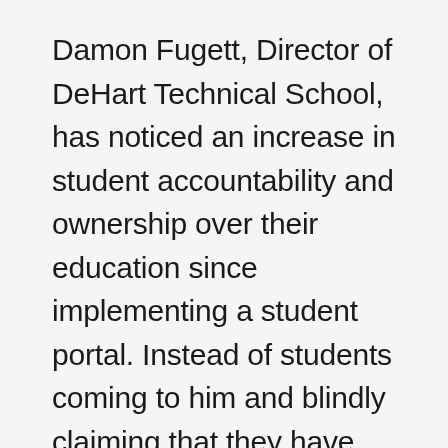Damon Fugett, Director of DeHart Technical School, has noticed an increase in student accountability and ownership over their education since implementing a student portal. Instead of students coming to him and blindly claiming that they have attendance discrepancies from months ago, students come equipped with their attendance records to prove they were indeed in class. He knows that the data is verified, accurate, and